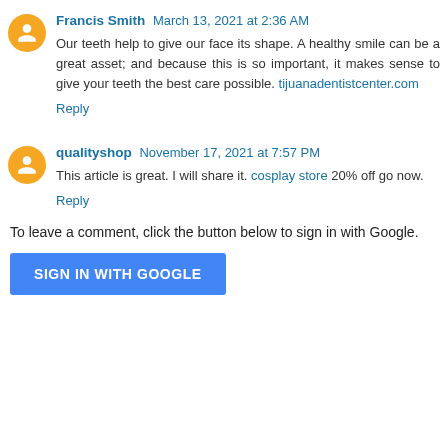Francis Smith March 13, 2021 at 2:36 AM
Our teeth help to give our face its shape. A healthy smile can be a great asset; and because this is so important, it makes sense to give your teeth the best care possible. tijuanadentistcenter.com
Reply
qualityshop November 17, 2021 at 7:57 PM
This article is great. I will share it. cosplay store 20% off go now.
Reply
To leave a comment, click the button below to sign in with Google.
SIGN IN WITH GOOGLE